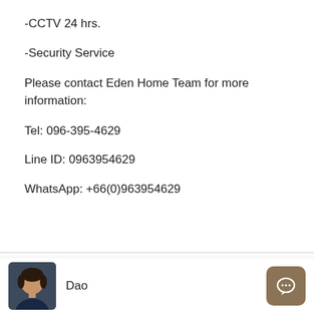-CCTV 24 hrs.
-Security Service
Please contact Eden Home Team for more information:
Tel: 096-395-4629
Line ID: 0963954629
WhatsApp: +66(0)963954629
Details
Updated on August 17, 2021 at 0:30 pm
Dao